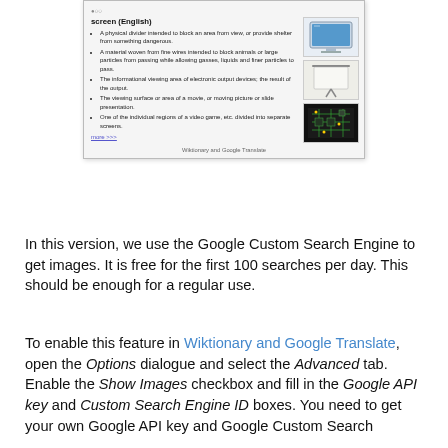[Figure (screenshot): Screenshot of a dictionary entry for 'screen (English)' from Wiktionary and Google Translate, showing bullet-point definitions and three images on the right side (a computer monitor, a projection screen, and a circuit board).]
In this version, we use the Google Custom Search Engine to get images. It is free for the first 100 searches per day. This should be enough for a regular use.
To enable this feature in Wiktionary and Google Translate, open the Options dialogue and select the Advanced tab. Enable the Show Images checkbox and fill in the Google API key and Custom Search Engine ID boxes. You need to get your own Google API key and Google Custom Search